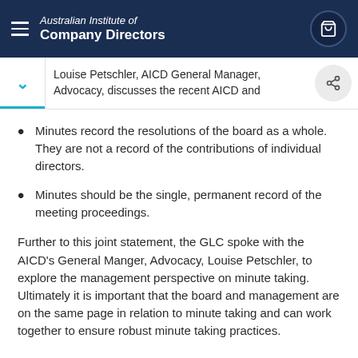Australian Institute of Company Directors
Louise Petschler, AICD General Manager, Advocacy, discusses the recent AICD and
Minutes record the resolutions of the board as a whole. They are not a record of the contributions of individual directors.
Minutes should be the single, permanent record of the meeting proceedings.
Further to this joint statement, the GLC spoke with the AICD's General Manger, Advocacy, Louise Petschler, to explore the management perspective on minute taking. Ultimately it is important that the board and management are on the same page in relation to minute taking and can work together to ensure robust minute taking practices.